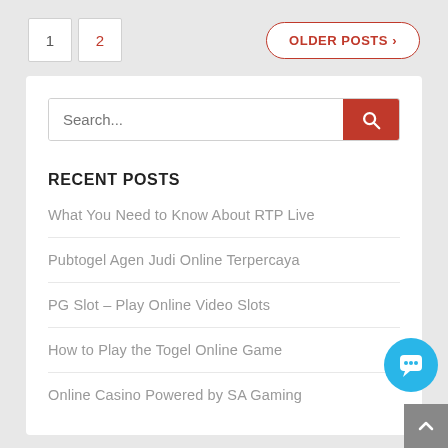1
2
OLDER POSTS ›
Search...
RECENT POSTS
What You Need to Know About RTP Live
Pubtogel Agen Judi Online Terpercaya
PG Slot – Play Online Video Slots
How to Play the Togel Online Game
Online Casino Powered by SA Gaming